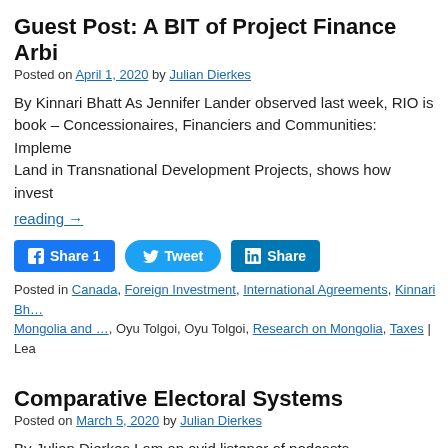Guest Post: A BIT of Project Finance Arbi…
Posted on April 1, 2020 by Julian Dierkes
By Kinnari Bhatt As Jennifer Lander observed last week, RIO is book – Concessionaires, Financiers and Communities: Impleme… Land in Transnational Development Projects, shows how invest…
reading →
[Figure (other): Social share buttons: Facebook Share 1, Tweet, LinkedIn Share]
Posted in Canada, Foreign Investment, International Agreements, Kinnari Bh… Mongolia and …, Oyu Tolgoi, Oyu Tolgoi, Research on Mongolia, Taxes | Lea…
Comparative Electoral Systems
Posted on March 5, 2020 by Julian Dierkes
By Julian Dierkes I am an avid listener of podcasts. Unfortunate… appearance in English-language podcasts. I've long thought abt… disciplinary interests into more dialogue w/ area knowledge. Jus…